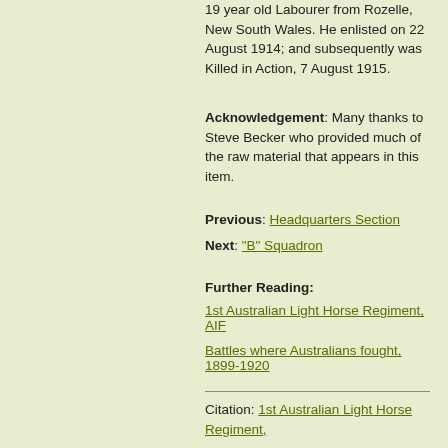19 year old Labourer from Rozelle, New South Wales. He enlisted on 22 August 1914; and subsequently was Killed in Action, 7 August 1915.
Acknowledgement: Many thanks to Steve Becker who provided much of the raw material that appears in this item.
Previous: Headquarters Section
Next: "B" Squadron
Further Reading:
1st Australian Light Horse Regiment, AIF
Battles where Australians fought, 1899-1920
Citation: 1st Australian Light Horse Regiment,